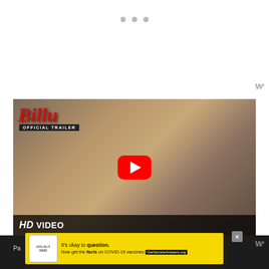[Figure (screenshot): Top white area with three grey navigation dots centered near top]
[Figure (screenshot): YouTube video thumbnail for 'Billu Official Trailer' HD VIDEO showing two actors (man holding comb, woman behind him) with YouTube red play button overlay. Text overlays: 'Billu' in red italic script, 'OFFICIAL TRAILER' in white on dark background, 'HD VIDEO' in white bold text on dark bottom bar.]
[Figure (screenshot): Advertisement banner with yellow background: vaccine awareness ad reading 'It's okay to question. Now get the facts on COVID-19 vaccines GetVaccineAnswers.org' with close X button]
Pa